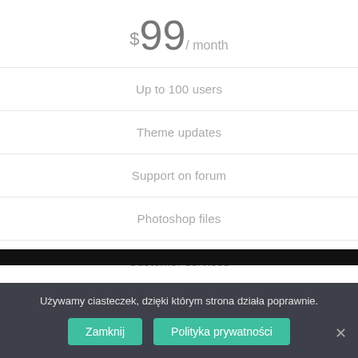$99/ month
Up to 100 users
Theme updates
Support on forum
Photoshop files
Customer services
Używamy ciasteczek, dzięki którym strona działa poprawnie.
Zamknij
Polityka prywatności